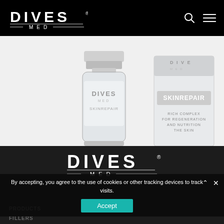DIVES MED
[Figure (photo): Product photo showing DIVES MED SKINREPAIR vial and box. The vial is a small glass medical vial with a silver cap branded DIVES MED SKINREPAIR. The box shows SKINREPAIR branding with text 'RICH COMPLEX FOR REGENERATION AND NUTRITION THE SKIN'.]
[Figure (other): Carousel navigation dots, 26 total. First dot is active (teal/blue), rest are light grey.]
[Figure (logo): DIVES MED logo in white on dark background in footer area]
By accepting, you agree to the use of cookies or other tracking devices to track visits.
Accept
PRODUCTS
FILLERS